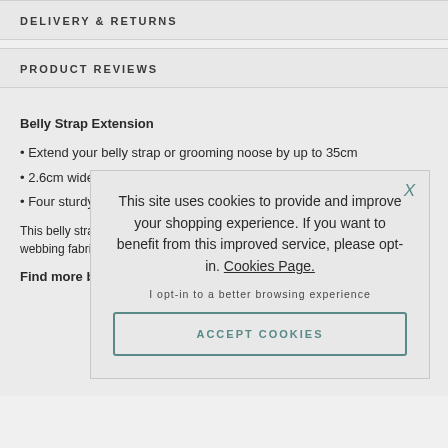DELIVERY & RETURNS
PRODUCT REVIEWS
Belly Strap Extension
Extend your belly strap or grooming noose by up to 35cm
2.6cm wide webbing
Four sturdy ch…
This belly strap … lengthen your b… features a quick … remove dogs fr… webbing fabric t… extension featu… which are space… breeds.
Find more belly…
This site uses cookies to provide and improve your shopping experience. If you want to benefit from this improved service, please opt-in. Cookies Page.
I opt-in to a better browsing experience
ACCEPT COOKIES